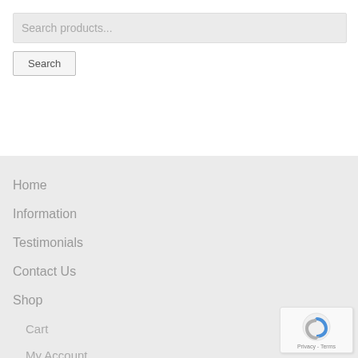Search products...
Search
Home
Information
Testimonials
Contact Us
Shop
Cart
My Account
Checkout